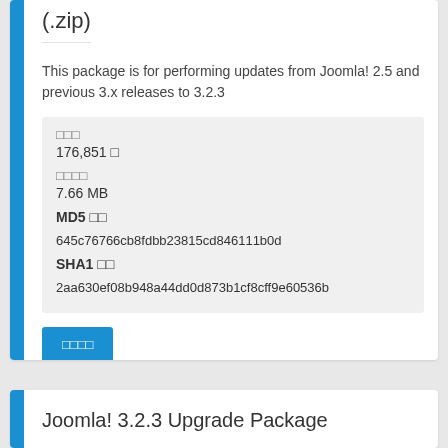(.zip)
This package is for performing updates from Joomla! 2.5 and previous 3.x releases to 3.2.3
| □□□ | 176,851 □ |
| □□□□ | 7.66 MB |
| MD5 □□ | 645c76766cb8fdbb23815cd846111b0d |
| SHA1 □□ | 2aa630ef08b948a44dd0d873b1cf8cff9e60536b |
□□□□
Joomla! 3.2.3 Upgrade Package